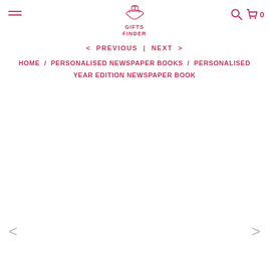[Figure (logo): Gifts Finder logo with gift box on hand icon and text GIFTS FINDER in pink/red]
< PREVIOUS | NEXT >
HOME / PERSONALISED NEWSPAPER BOOKS / PERSONALISED YEAR EDITION NEWSPAPER BOOK